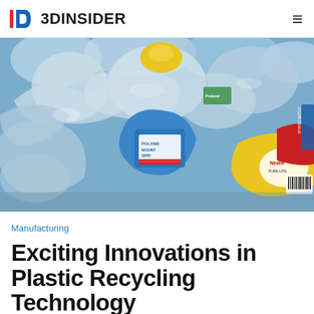3DINSIDER
[Figure (photo): A large pile of crushed and empty plastic water bottles and beverage containers including brands like Poland Spring and Nestle, photographed close-up showing transparent, blue, yellow, and red labeled bottles in a recycling pile.]
Manufacturing
Exciting Innovations in Plastic Recycling Technology